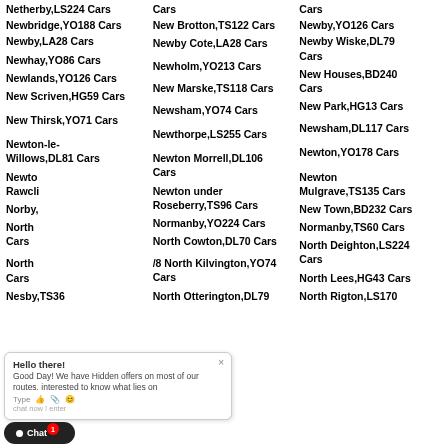Netherby,LS224 Cars
Cars
Cars
Newbridge,YO188 Cars
New Brotton,TS122 Cars
Newby,YO126 Cars
Newby,LA28 Cars
Newby Cote,LA28 Cars
Newby Wiske,DL79 Cars
Newhay,YO86 Cars
Newholm,YO213 Cars
New Houses,BD240 Cars
Newlands,YO126 Cars
New Marske,TS118 Cars
New Park,HG13 Cars
New Scriven,HG59 Cars
Newsham,YO74 Cars
Newsham,DL117 Cars
New Thirsk,YO71 Cars
Newthorpe,LS255 Cars
Newton,YO178 Cars
Newton-le-Willows,DL81 Cars
Newton Morrell,DL106 Cars
Newton Mulgrave,TS135 Cars
Newton Rawcliffe
Newton under Roseberry,TS96 Cars
New Town,BD232 Cars
Norby
Normanby,YO224 Cars
Normanby,TS60 Cars
North
North Cowton,DL70 Cars
North Deighton,LS224 Cars
North
North Kilvington,YO74 Cars
North Lees,HG43 Cars
Normanby,TS36
North Otterington,DL79
North Rigton,LS170